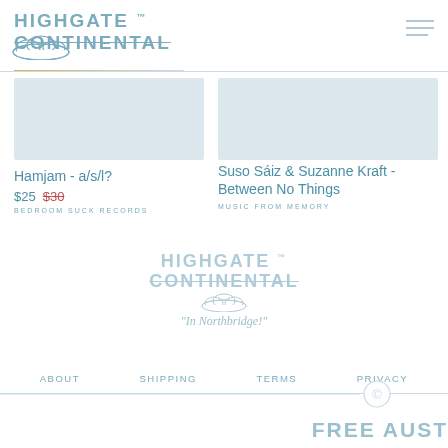HIGHGATE ™ CONTINENTAL
Hamjam - a/s/l?
$25  $30
BEDROOM SUCK RECORDS
Suso Sáiz & Suzanne Kraft - Between No Things
MUSIC FROM MEMORY
[Figure (logo): Highgate Continental logo with cloud and cursive In Northbridge! tagline, centered watermark]
ABOUT   SHIPPING   TERMS   PRIVACY
FREE AUST